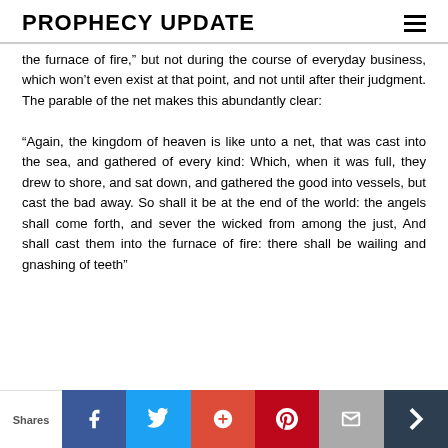PROPHECY UPDATE
the furnace of fire," but not during the course of everyday business, which won't even exist at that point, and not until after their judgment. The parable of the net makes this abundantly clear:
"Again, the kingdom of heaven is like unto a net, that was cast into the sea, and gathered of every kind: Which, when it was full, they drew to shore, and sat down, and gathered the good into vessels, but cast the bad away. So shall it be at the end of the world: the angels shall come forth, and sever the wicked from among the just, And shall cast them into the furnace of fire: there shall be wailing and gnashing of teeth"